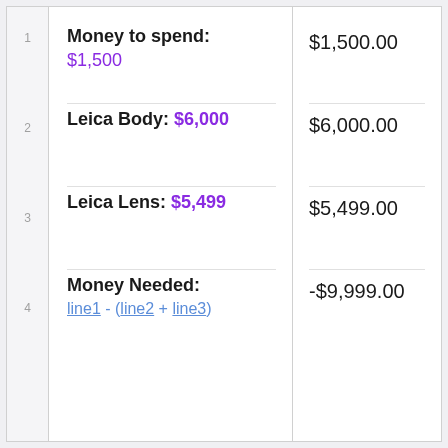1  Money to spend: $1,500  |  $1,500.00
2  Leica Body: $6,000  |  $6,000.00
3  Leica Lens: $5,499  |  $5,499.00
4  Money Needed: line1 - (line2 + line3)  |  -$9,999.00